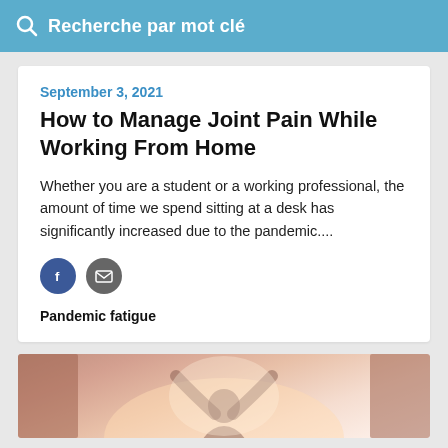Recherche par mot clé
September 3, 2021
How to Manage Joint Pain While Working From Home
Whether you are a student or a working professional, the amount of time we spend sitting at a desk has significantly increased due to the pandemic....
Pandemic fatigue
[Figure (photo): Blurred photo of a person with arms raised, backlit by warm light, visible from shoulders down, curtains or drapes visible on sides]